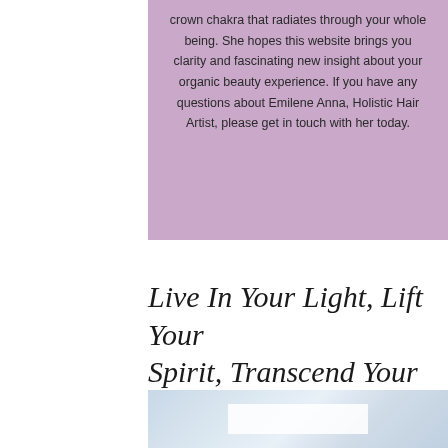crown chakra that radiates through your whole being. She hopes this website brings you clarity and fascinating new insight about your organic beauty experience. If you have any questions about Emilene Anna, Holistic Hair Artist, please get in touch with her today.
Live In Your Light, Lift Your Spirit, Transcend Your Beauty
EMILENE ANNA
[Figure (photo): Light blue-grey watercolor or marble textured background image with a white rectangular overlay in the center]